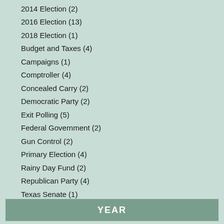2014 Election (2)
2016 Election (13)
2018 Election (1)
Budget and Taxes (4)
Campaigns (1)
Comptroller (4)
Concealed Carry (2)
Democratic Party (2)
Exit Polling (5)
Federal Government (2)
Gun Control (2)
Primary Election (4)
Rainy Day Fund (2)
Republican Party (4)
Texas Senate (1)
U.S. Congress (3)
YEAR
(-) 2016